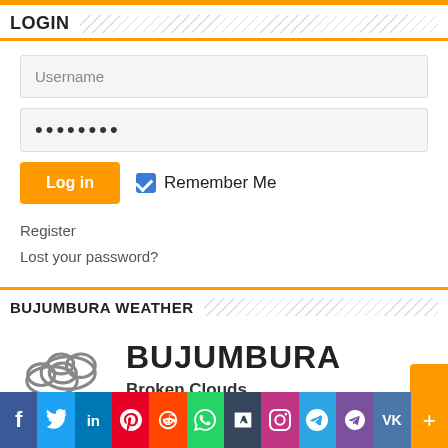LOGIN
Username
••••••••
Log in   Remember Me
Register
Lost your password?
BUJUMBURA WEATHER
[Figure (illustration): Cloud weather icon]
BUJUMBURA
Broken Clouds
[Figure (infographic): Social media share bar: Facebook, Twitter, LinkedIn, Pinterest, Reddit, WhatsApp, Tumblr, Instagram, Telegram, Viber, VK, More]